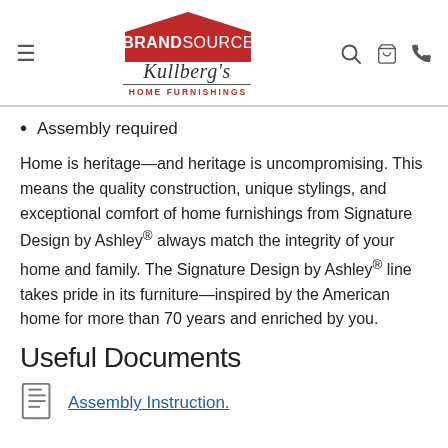[Figure (logo): BrandSource Kullberg's Home Furnishings logo with hamburger menu and navigation icons (search, cart, phone)]
Assembly required
Home is heritage—and heritage is uncompromising. This means the quality construction, unique stylings, and exceptional comfort of home furnishings from Signature Design by Ashley® always match the integrity of your home and family. The Signature Design by Ashley® line takes pride in its furniture—inspired by the American home for more than 70 years and enriched by you.
Useful Documents
Assembly Instruction.